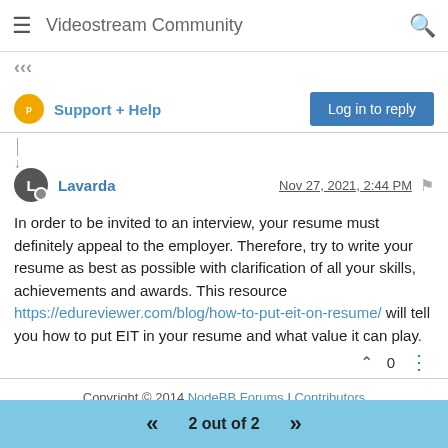Videostream Community
‹‹‹
Support + Help
Log in to reply
Lavarda   Nov 27, 2021, 2:44 PM
In order to be invited to an interview, your resume must definitely appeal to the employer. Therefore, try to write your resume as best as possible with clarification of all your skills, achievements and awards. This resource https://edureviewer.com/blog/how-to-put-eit-on-resume/ will tell you how to put EIT in your resume and what value it can play.
0
Copyright © 2014 NodeBB Forums | Contributors
2 out of 2